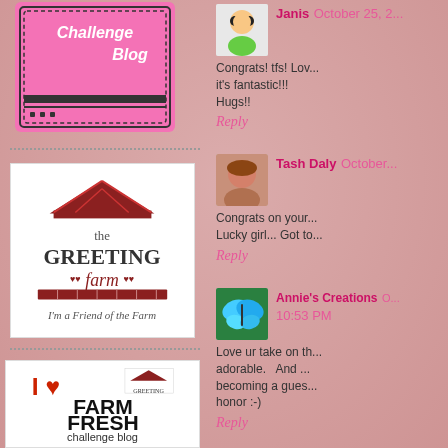[Figure (logo): Challenge Blog pink badge logo in top left]
[Figure (logo): The Greeting Farm - I'm a Friend of the Farm badge]
[Figure (logo): I Love Farm Fresh challenge blog badge]
Janis October 25, 2...
Congrats! tfs! Lov... it's fantastic!!! Hugs!!
Reply
Tash Daly October...
Congrats on your... Lucky girl... Got to...
Reply
Annie's Creations O... 10:53 PM
Love ur take on th... adorable. And ... becoming a gues... honor :-)
Reply